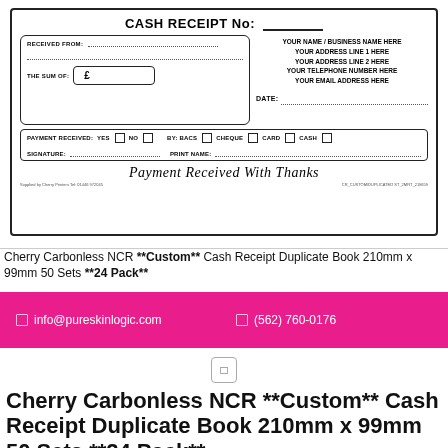[Figure (other): Cash receipt form with fields for CASH RECEIPT No, RECEIVED FROM, THE SUM OF (£), YOUR NAME/BUSINESS NAME HERE, DATE, PAYMENT RECEIVED YES/NO BY BACS/CHEQUE/CARD/CASH, SIGNATURE, PRINT NAME, and Payment Received With Thanks script]
Cherry Carbonless NCR **Custom** Cash Receipt Duplicate Book 210mm x 99mm 50 Sets **24 Pack**
✉ info@pureskinlogic.com   ☎ (562) 760-0176
Cherry Carbonless NCR **Custom** Cash Receipt Duplicate Book 210mm x 99mm 50 Sets **24 Pack**